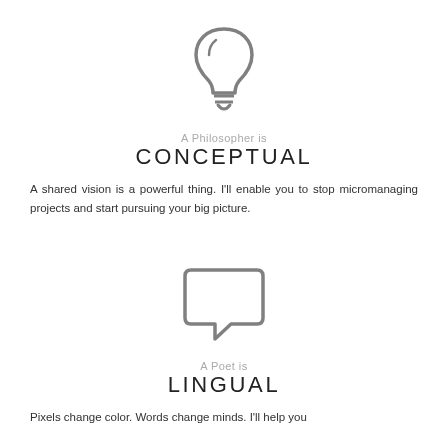[Figure (illustration): Gray lightbulb icon]
A Philosopher is
CONCEPTUAL
A shared vision is a powerful thing. I'll enable you to stop micromanaging projects and start pursuing your big picture.
[Figure (illustration): Gray speech bubble / chat icon]
A Poet is
LINGUAL
Pixels change color. Words change minds. I'll help you